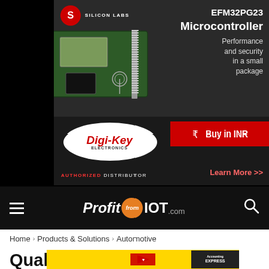[Figure (infographic): Silicon Labs EFM32PG23 Microcontroller advertisement from Digi-Key Electronics. Shows PCB board image, Silicon Labs logo, product name EFM32PG23 Microcontroller, tagline 'Performance and security in a small package', Digi-Key Electronics logo, 'Buy in INR' button, 'Learn More >>' link, and 'AUTHORIZED DISTRIBUTOR' text.]
ProfitfromIOT.com
Home › Products & Solutions › Automotive
Qualcomm Introduces New Au... Pla...